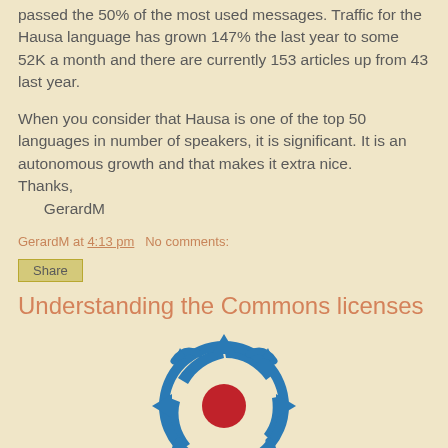passed the 50% of the most used messages. Traffic for the Hausa language has grown 147% the last year to some 52K a month and there are currently 153 articles up from 43 last year.

When you consider that Hausa is one of the top 50 languages in number of speakers, it is significant. It is an autonomous growth and that makes it extra nice.
Thanks,
    GerardM
GerardM at 4:13 pm   No comments:
Share
Understanding the Commons licenses
[Figure (logo): Creative Commons logo — blue circular arrows with a red center circle]